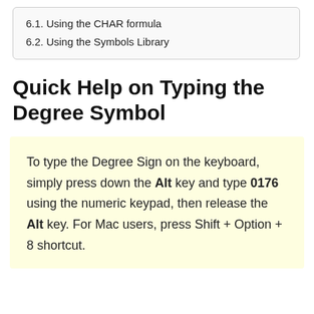6.1. Using the CHAR formula
6.2. Using the Symbols Library
Quick Help on Typing the Degree Symbol
To type the Degree Sign on the keyboard, simply press down the Alt key and type 0176 using the numeric keypad, then release the Alt key. For Mac users, press Shift + Option + 8 shortcut.